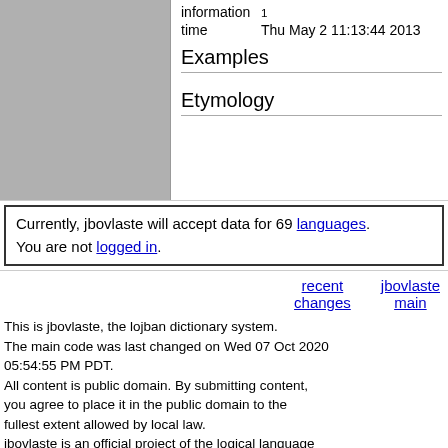[Figure (other): Gray placeholder image box on left side of top section]
information 1
time   Thu May 2 11:13:44 2013
Examples
Etymology
Currently, jbovlaste will accept data for 69 languages. You are not logged in.
recent changes    jbovlaste main
This is jbovlaste, the lojban dictionary system.
The main code was last changed on Wed 07 Oct 2020 05:54:55 PM PDT.
All content is public domain. By submitting content, you agree to place it in the public domain to the fullest extent allowed by local law.
jbovlaste is an official project of the logical language group, and is now headed by Robin Lee Powell.
E-mail him if you have any questions.
care to log in?